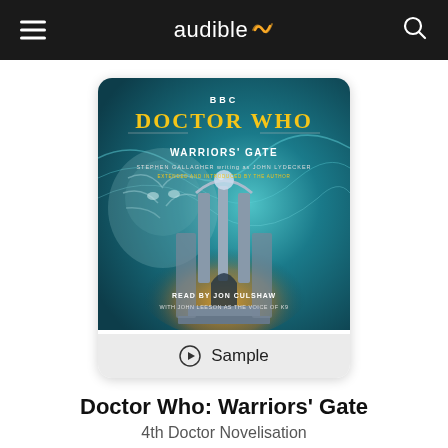audible
[Figure (illustration): Doctor Who: Warriors' Gate BBC audiobook cover art showing a Gothic gate structure with swirling blue/teal background and a lion-like face. Text: BBC, DOCTOR WHO, WARRIORS' GATE, STEPHEN GALLAGHER writing as JOHN LYDECKER, EXTENDED AND INTRODUCED BY THE AUTHOR, READ BY JON CULSHAW, WITH JOHN LEESON AS THE VOICE OF K9]
Sample
Doctor Who: Warriors' Gate
4th Doctor Novelisation